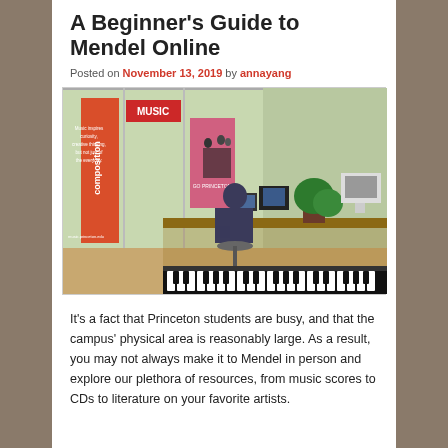A Beginner's Guide to Mendel Online
Posted on November 13, 2019 by annayang
[Figure (photo): A student sitting at a piano/keyboard workstation in a music studio room with large windows. Orange banners reading 'composition' and 'MUSIC' are visible in the background, along with a pink banner with people on it. There are computer monitors, a plant, and keyboard instruments on the desk.]
It's a fact that Princeton students are busy, and that the campus' physical area is reasonably large. As a result, you may not always make it to Mendel in person and explore our plethora of resources, from music scores to CDs to literature on your favorite artists.